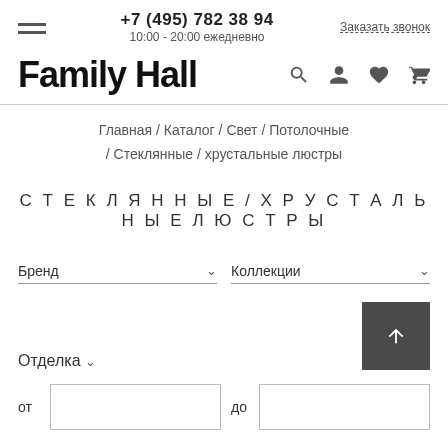+7 (495) 782 38 94 | 10:00 - 20:00 ежедневно | Заказать звонок
Family Hall
Главная / Каталог / Свет / Потолочные / Стеклянные / хрустальные люстры
СТЕКЛЯННЫЕ / ХРУСТАЛЬНЫЕ ЛЮСТРЫ
Бренд
Коллекции
Отделка
от
до